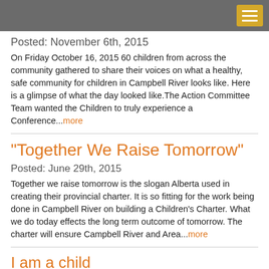Posted: November 6th, 2015
On Friday October 16, 2015 60 children from across the community gathered to share their voices on what a healthy, safe community for children in Campbell River looks like. Here is a glimpse of what the day looked like.The Action Committee Team wanted the Children to truly experience a Conference...more
“Together We Raise Tomorrow”
Posted: June 29th, 2015
Together we raise tomorrow is the slogan Alberta used in creating their provincial charter.  It is so fitting for the work being done in Campbell River on building a Children’s Charter.  What we do today effects the long term outcome of tomorrow.  The charter will ensure Campbell River and Area...more
I am a child